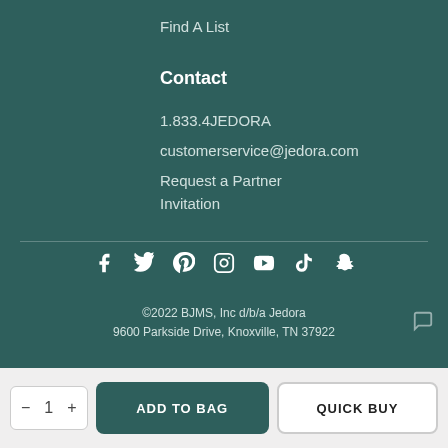Find A List
Contact
1.833.4JEDORA
customerservice@jedora.com
Request a Partner Invitation
[Figure (infographic): Social media icons: Facebook, Twitter, Pinterest, Instagram, YouTube, TikTok, Snapchat]
©2022 BJMS, Inc d/b/a Jedora
9600 Parkside Drive, Knoxville, TN 37922
ADD TO BAG
QUICK BUY